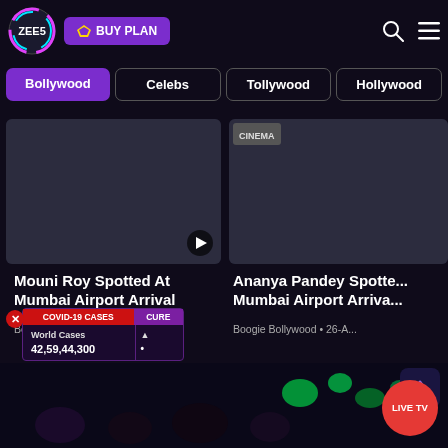[Figure (screenshot): ZEE5 streaming website header with logo and BUY PLAN button]
[Figure (screenshot): Navigation tabs: Bollywood (active/purple), Celebs, Tollywood, Hollywood]
[Figure (screenshot): Video thumbnail card - Mouni Roy Spotted At Mumbai Airport Arrival with play button]
[Figure (screenshot): Video thumbnail card - Ananya Pandey Spotted Mumbai Airport Arrival (partially visible)]
Mouni Roy Spotted At Mumbai Airport Arrival
Boogie Bollywood • 26-Aug-2022
Ananya Pandey Spotte... Mumbai Airport Arriva...
Boogie Bollywood • 26-A...
| COVID-19 CASES | CURE |
| --- | --- |
| World Cases | ... |
| 42,59,44,300 | ... |
[Figure (photo): Bottom section showing people at an event with green stage lights]
LIVE TV